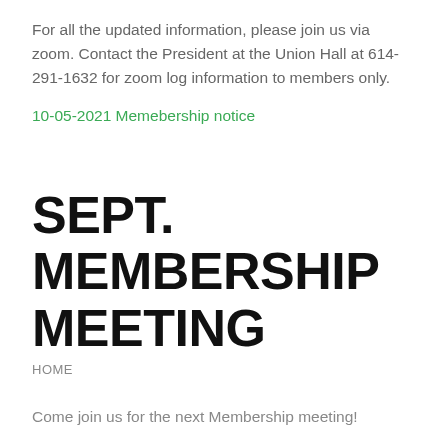For all the updated information, please join us via zoom. Contact the President at the Union Hall at 614-291-1632 for zoom log information to members only.
10-05-2021 Memebership notice
SEPT. MEMBERSHIP MEETING
HOME
Come join us for the next Membership meeting!